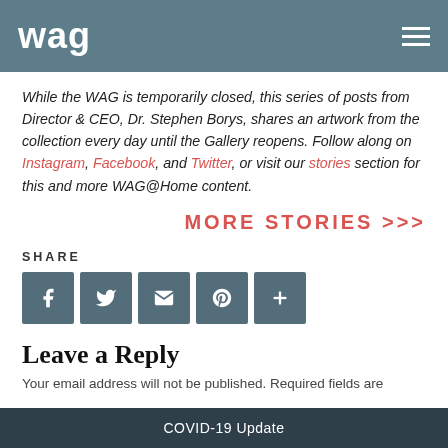wag
While the WAG is temporarily closed, this series of posts from Director & CEO, Dr. Stephen Borys, shares an artwork from the collection every day until the Gallery reopens. Follow along on Instagram, Facebook, and Twitter, or visit our stories section for this and more WAG@Home content.
MORE STORIES >>>
SHARE
[Figure (other): Social share buttons: Facebook, Twitter, Email, Pinterest, More (+)]
Leave a Reply
Your email address will not be published. Required fields are
COVID-19 Update